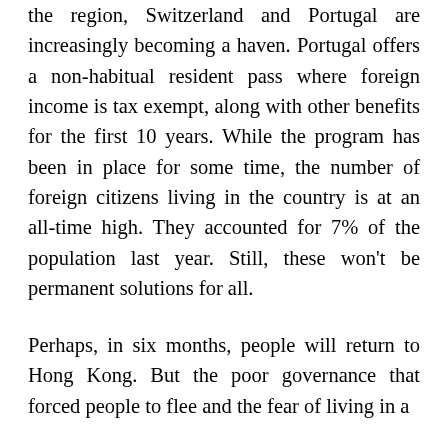the region, Switzerland and Portugal are increasingly becoming a haven. Portugal offers a non-habitual resident pass where foreign income is tax exempt, along with other benefits for the first 10 years. While the program has been in place for some time, the number of foreign citizens living in the country is at an all-time high. They accounted for 7% of the population last year. Still, these won't be permanent solutions for all.
Perhaps, in six months, people will return to Hong Kong. But the poor governance that forced people to flee and the fear of living in a